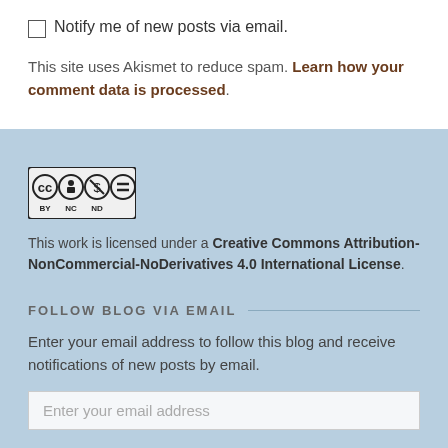Notify me of new posts via email.
This site uses Akismet to reduce spam. Learn how your comment data is processed.
[Figure (logo): Creative Commons BY NC ND license badge with four circular icons]
This work is licensed under a Creative Commons Attribution-NonCommercial-NoDerivatives 4.0 International License.
FOLLOW BLOG VIA EMAIL
Enter your email address to follow this blog and receive notifications of new posts by email.
Enter your email address